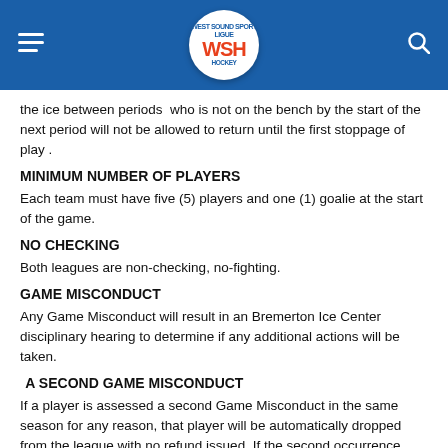WSH Hockey League
the ice between periods  who is not on the bench by the start of the next period will not be allowed to return until the first stoppage of play .
MINIMUM NUMBER OF PLAYERS
Each team must have five (5) players and one (1) goalie at the start of the game.
NO CHECKING
Both leagues are non-checking, no-fighting.
GAME MISCONDUCT
Any Game Misconduct will result in an Bremerton Ice Center disciplinary hearing to determine if any additional actions will be taken.
A SECOND GAME MISCONDUCT
If a player is assessed a second Game Misconduct in the same season for any reason, that player will be automatically dropped from the league with no refund issued. If the second occurrence happens in the last three games of the regular season or during the playoffs, the player involved will be banned from participating in the next session of the league.